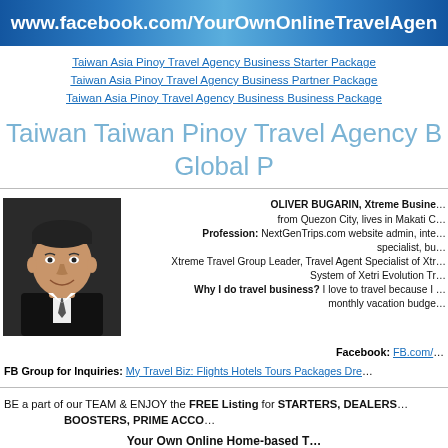www.facebook.com/YourOwnOnlineTravelAgen
Taiwan Asia Pinoy Travel Agency Business Starter Package
Taiwan Asia Pinoy Travel Agency Business Partner Package
Taiwan Asia Pinoy Travel Agency Business Business Package
Taiwan Taiwan Pinoy Travel Agency B... Global P...
[Figure (photo): Headshot photo of Oliver Bugarin, a man in a black suit, smiling, with a white background]
OLIVER BUGARIN, Xtreme Busine... from Quezon City, lives in Makati C... Profession: NextGenTrips.com website admin, inte... specialist, bu... Xtreme Travel Group Leader, Travel Agent Specialist of Xtr... System of Xetri Evolution Tr... Why I do travel business? I love to travel because I ... monthly vacation budge...
Facebook: FB.com/...
FB Group for Inquiries: My Travel Biz: Flights Hotels Tours Packages Dre...
BE a part of our TEAM & ENJOY the FREE Listing for STARTERS, DEALERS... BOOSTERS, PRIME ACCO...
Your Own Online Home-based T...
Your Name and Your Conta...